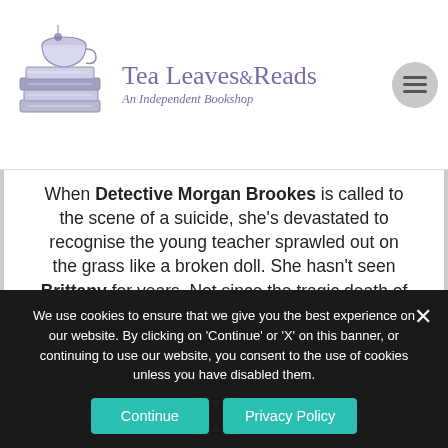Tea Leaves & Reads — An Independent Bookshop
When Detective Morgan Brookes is called to the scene of a suicide, she's devastated to recognise the young teacher sprawled out on the grass like a broken doll. She hasn't seen Brittany for years. Not since the tragic death of Morgan's high-school boyfriend ripped their friendship group apart. But when witnesses describe Brittany's erratic behaviour and jumbled speech that morning, Morgan is convinced the fearless, life-loving girl
We use cookies to ensure that we give you the best experience on our website. By clicking on 'Continue' or 'X' on this banner, or continuing to use our website, you consent to the use of cookies unless you have disabled them.